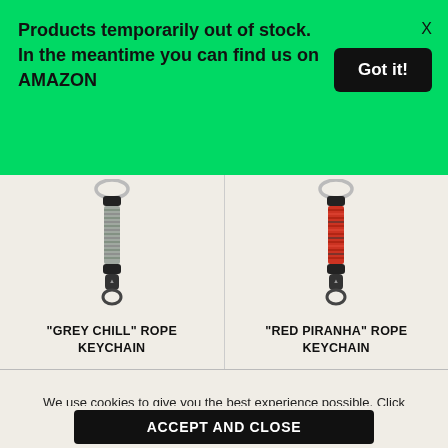Products temporarily out of stock. In the meantime you can find us on AMAZON
Got it!
[Figure (photo): Grey Chill rope keychain product photo — grey paracord wrapped handle with metal swivel clip and key ring]
“GREY CHILL” ROPE KEYCHAIN
[Figure (photo): Red Piranha rope keychain product photo — red/black paracord wrapped handle with metal swivel clip and key ring]
“RED PIRANHA” ROPE KEYCHAIN
We use cookies to give you the best experience possible. Click accept to continue shopping or find out more in our cookie policy.
ACCEPT AND CLOSE